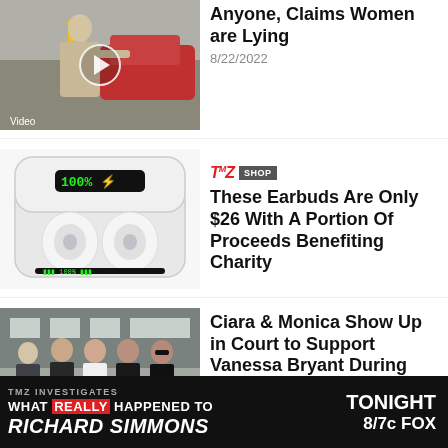[Figure (photo): Video thumbnail of a person outside near cars, with a play button overlay]
Anyone, Claims Women are Lying
8/22/2022
[Figure (photo): White wireless earbuds in an open charging case with LED display showing 100%]
TMZ SHOP
These Earbuds Are Only $26 With A Portion Of Proceeds Benefiting Charity
[Figure (photo): Group of people walking outside a building, dressed in dark clothing]
Ciara & Monica Show Up in Court to Support Vanessa Bryant During Crash Photo Trial
[Figure (infographic): TMZ Investigates ad banner: WHAT REALLY HAPPENED TO RICHARD SIMMONS — TONIGHT 8/7c FOX]